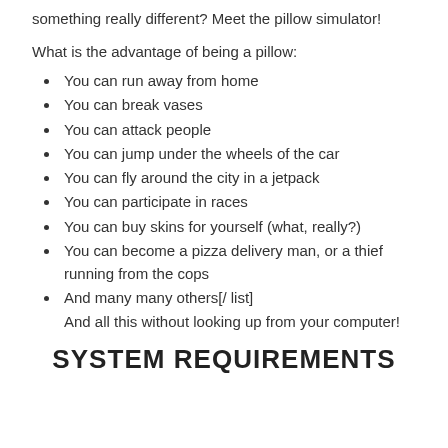something really different? Meet the pillow simulator!
What is the advantage of being a pillow:
You can run away from home
You can break vases
You can attack people
You can jump under the wheels of the car
You can fly around the city in a jetpack
You can participate in races
You can buy skins for yourself (what, really?)
You can become a pizza delivery man, or a thief running from the cops
And many many others[/ list]
And all this without looking up from your computer!
SYSTEM REQUIREMENTS